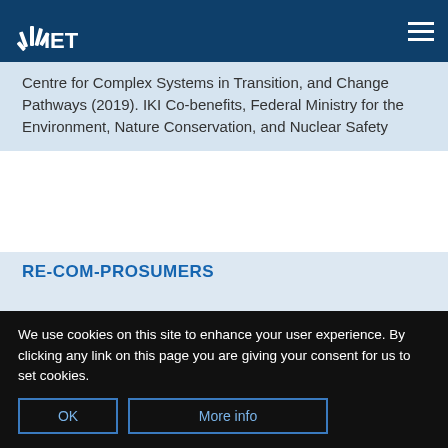IET logo and navigation
Centre for Complex Systems in Transition, and Change Pathways (2019). IKI Co-benefits, Federal Ministry for the Environment, Nature Conservation, and Nuclear Safety
RE-COM-PROSUMERS
[Figure (illustration): Colorful abstract graphic with blue, gold/yellow, and green curved shapes]
We use cookies on this site to enhance your user experience. By clicking any link on this page you are giving your consent for us to set cookies.